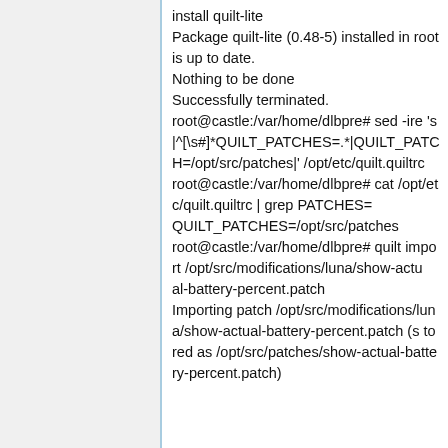install quilt-lite
Package quilt-lite (0.48-5) installed in root is up to date.
Nothing to be done
Successfully terminated.
root@castle:/var/home/dlbpre# sed -ire 's|^[\s#]*QUILT_PATCHES=.*|QUILT_PATCHES=/opt/src/patches|' /opt/etc/quilt.quiltrc
root@castle:/var/home/dlbpre# cat /opt/etc/quilt.quiltrc | grep PATCHES=
QUILT_PATCHES=/opt/src/patches
root@castle:/var/home/dlbpre# quilt import /opt/src/modifications/luna/show-actual-battery-percent.patch
Importing patch /opt/src/modifications/luna/show-actual-battery-percent.patch (s tored as /opt/src/patches/show-actual-battery-percent.patch)